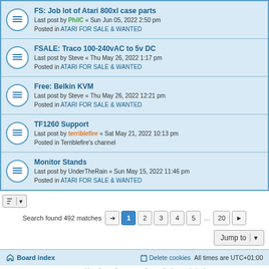FS: Job lot of Atari 800xl case parts — Last post by PhilC « Sun Jun 05, 2022 2:50 pm — Posted in ATARI FOR SALE & WANTED
FSALE: Traco 100-240vAC to 5v DC — Last post by Steve « Thu May 26, 2022 1:17 pm — Posted in ATARI FOR SALE & WANTED
Free: Belkin KVM — Last post by Steve « Thu May 26, 2022 12:21 pm — Posted in ATARI FOR SALE & WANTED
TF1260 Support — Last post by terriblefire « Sat May 21, 2022 10:13 pm — Posted in Terriblefire's channel
Monitor Stands — Last post by UnderTheRain « Sun May 15, 2022 11:46 pm — Posted in ATARI FOR SALE & WANTED
Search found 492 matches  1 2 3 4 5 … 20
Jump to
Board index   Delete cookies   All times are UTC+01:00
Powered by phpBB® Forum Software © phpBB Limited